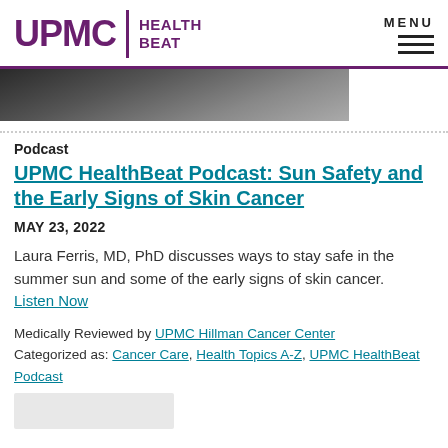UPMC HEALTH BEAT
[Figure (photo): Partial photo of a person, cropped image strip at top of page content area]
Podcast
UPMC HealthBeat Podcast: Sun Safety and the Early Signs of Skin Cancer
MAY 23, 2022
Laura Ferris, MD, PhD discusses ways to stay safe in the summer sun and some of the early signs of skin cancer. Listen Now
Medically Reviewed by UPMC Hillman Cancer Center
Categorized as: Cancer Care, Health Topics A-Z, UPMC HealthBeat Podcast